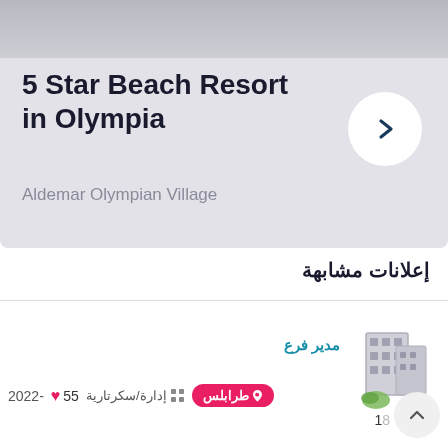[Figure (screenshot): Top card with gray background showing hotel listing: 5 Star Beach Resort in Olympia, with a white circular chevron button on the right]
5 Star Beach Resort in Olympia
Aldemar Olympian Village
إعلانات مشابهة
[Figure (illustration): Building/office tower icon with green leaf at base]
مدير فرع
طرابلس  إدارة/سكرتارية  55 ♥  -2022